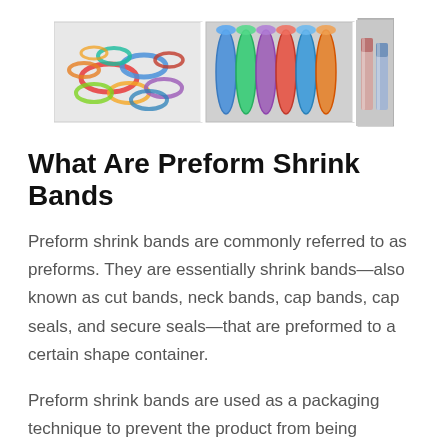[Figure (photo): Three product photos of shrink bands and packaging rolls arranged horizontally: left shows colorful rings/bands scattered, center shows rolls of shrink film in various colors, right shows metallic capped bottles/containers.]
What Are Preform Shrink Bands
Preform shrink bands are commonly referred to as preforms. They are essentially shrink bands—also known as cut bands, neck bands, cap bands, cap seals, and secure seals—that are preformed to a certain shape container.
Preform shrink bands are used as a packaging technique to prevent the product from being tampered with by consumers. The advantage of using a preform is that they are designed to help